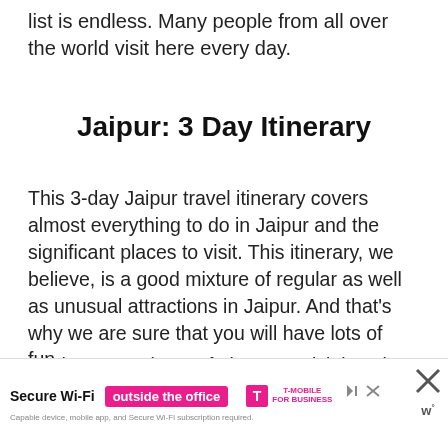list is endless. Many people from all over the world visit here every day.
Jaipur: 3 Day Itinerary
This 3-day Jaipur travel itinerary covers almost everything to do in Jaipur and the significant places to visit. This itinerary, we believe, is a good mixture of regular as well as unusual attractions in Jaipur. And that’s why we are sure that you will have lots of fun.
As there are plenty of places to visit in Jaipur, 3 days is a bare minimum to enjoy the best bits. Now, it is time to list out a perfect
[Figure (other): T-Mobile for Business advertisement banner: 'Secure Wi-Fi outside the office' with pink badge and T-Mobile logo]